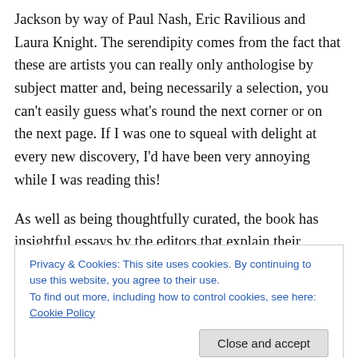Jackson by way of Paul Nash, Eric Ravilious and Laura Knight. The serendipity comes from the fact that these are artists you can really only anthologise by subject matter and, being necessarily a selection, you can't easily guess what's round the next corner or on the next page. If I was one to squeal with delight at every new discovery, I'd have been very annoying while I was reading this!
As well as being thoughtfully curated, the book has insightful essays by the editors that explain their choices and put them in a narrative context. It should also be said
Privacy & Cookies: This site uses cookies. By continuing to use this website, you agree to their use.
To find out more, including how to control cookies, see here: Cookie Policy
will stand alone and it's all the better for that.